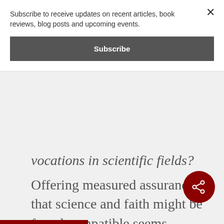Subscribe to receive updates on recent articles, book reviews, blog posts and upcoming events.
Subscribe
vocations in scientific fields?
Offering measured assurance that science and faith might be found compatible seems appropriate, but the point must not be put too simply. An individual may, after all, find that a sufficient understanding of his or her vocation comes only at a point when conceptions of compatibility fail or